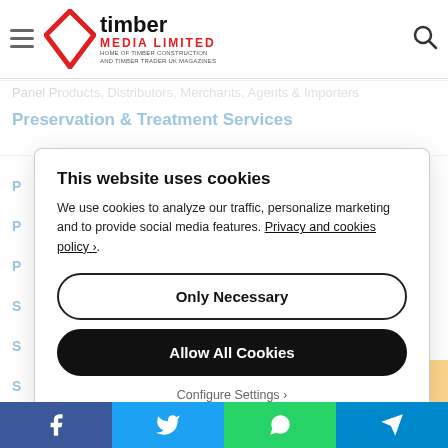[Figure (logo): Timber Media Limited logo with red diamond, bold timber wordmark, red MEDIA LIMITED text, and tagline HOME OF TIMBER CONSTRUCTION AND TIMBER TRADER UK MAGAZINES]
Panel Products, Distributors, Merchants, Agents & Importers
Preservation & Treatment Services
P
P
P
S
S
S
This website uses cookies
We use cookies to analyze our traffic, personalize marketing and to provide social media features. Privacy and cookies policy ›.
Only Necessary
Allow All Cookies
Configure Settings ›